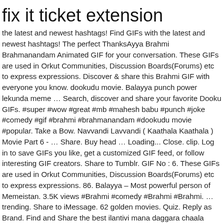fix it ticket extension
the latest and newest hashtags! Find GIFs with the latest and newest hashtags! The perfect ThanksAyya Brahmi Brahmanandam Animated GIF for your conversation. These GIFs are used in Orkut Communities, Discussion Boards(Forums) etc to express expressions. Discover & share this Brahmi GIF with everyone you know. dookudu movie. Balayya punch power lekunda meme … Search, discover and share your favorite Dooku GIFs. #super #wow #great #mb #mahesh babu #punch #joke #comedy #gif #brahmi #brahmanandam #dookudu movie #popular. Take a Bow. Navvandi Lavvandi ( Kaathala Kaathala ) Movie Part 6 - … Share. Buy head … Loading... Close. clip. Log in to save GIFs you like, get a customized GIF feed, or follow interesting GIF creators. Share to Tumblr. GIF No : 6. These GIFs are used in Orkut Communities, Discussion Boards(Forums) etc to express expressions. 86. Balayya – Most powerful person of Memeistan. 3.5K views #Brahmi #comedy #Brahmi #Brahmi. … trending. Share to iMessage. 62 golden movies. Quiz. Reply as Brand. Find and Share the best ilantivi mana daggara chaala unnai TELUGU GIFs or Reaction clips on Kulfy App. 🌐🌐🌐 🌐🌐🌐🌐🌐🌐🌐🌐🌐 🌐🌐🌐🌐🌐🌐🌐🌐 🌐🌐🌐🌐🌐🌐🌐🌐🌐🌐🌐🌐🌐🌐🌐🌐🌐🌐🌐🌐 🌐🌐🌐🌐🌐🌐🌐🌐🌐🌐🌐🌐🌐🌐🌐🌐🌐🌐 🌐🌐🌐🌐🌐🌐🌐🌐 "🌐🌐🌐🌐🌐🌐🌐🌐" 🌐🌐🌐🌐🌐🌐🌐🌐 "🌐🌐🌐🌐🌐🌐🌐🌐🌐🌐🌐🌐🌐🌐🌐🌐🌐🌐🌐🌐" 🌐 🌐🌐🌐🌐🌐🌐🌐🌐🌐🌐🌐🌐🌐🌐🌐🌐🌐🌐 3 🌐🌐🌐🌐🌐🌐🌐🌐 14 🌐🌐🌐🌐 2551